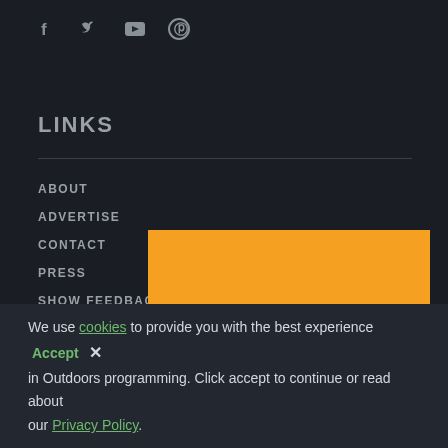[Figure (other): Social media icons row: Facebook (f), Twitter (bird), YouTube (play button), Pinterest (p)]
LINKS
ABOUT
ADVERTISE
CONTACT
PRESS
SHOW FEEDBACK
MEDIA KIT
CONSERVATION
[Figure (other): Orange advertisement/media placeholder box with error text 'Error code: 4' in bottom right corner]
We use cookies to provide you with the best experience Accept × in Outdoors programming. Click accept to continue or read about our Privacy Policy.